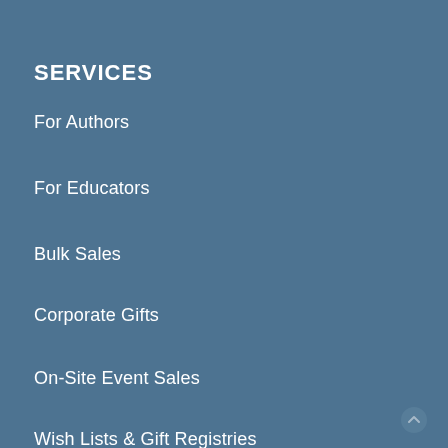SERVICES
For Authors
For Educators
Bulk Sales
Corporate Gifts
On-Site Event Sales
Wish Lists & Gift Registries